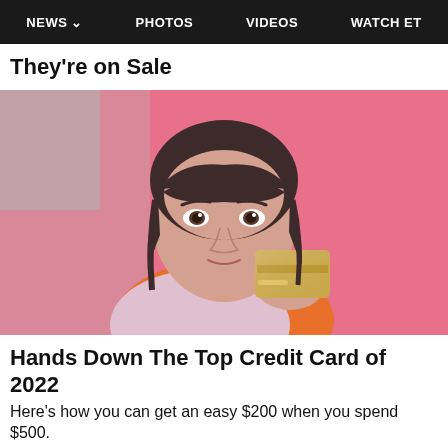NEWS  PHOTOS  VIDEOS  WATCH ET
They're on Sale
[Figure (photo): Young woman with dark hair and bangs holding a gold credit card in front of her face, against a pink background, wearing an orange top]
Hands Down The Top Credit Card of 2022
Here's how you can get an easy $200 when you spend $500.